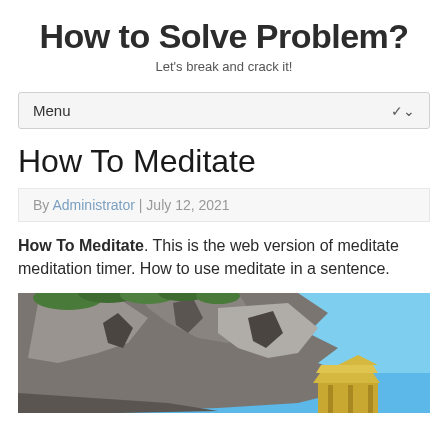How to Solve Problem?
Let's break and crack it!
Menu
How To Meditate
By Administrator | July 12, 2021
How To Meditate. This is the web version of meditate meditation timer. How to use meditate in a sentence.
[Figure (photo): A rocky cliff face with green vegetation on top and a blue sky, with what appears to be a traditional structure or temple visible at the bottom right.]